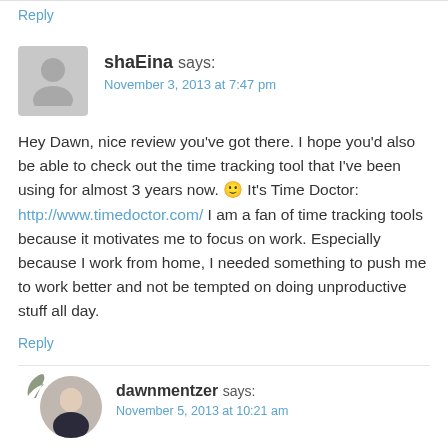Reply
shaEina says: November 3, 2013 at 7:47 pm
Hey Dawn, nice review you've got there. I hope you'd also be able to check out the time tracking tool that I've been using for almost 3 years now. 🙂 It's Time Doctor: http://www.timedoctor.com/ I am a fan of time tracking tools because it motivates me to focus on work. Especially because I work from home, I needed something to push me to work better and not be tempted on doing unproductive stuff all day.
Reply
dawnmentzer says: November 5, 2013 at 10:21 am